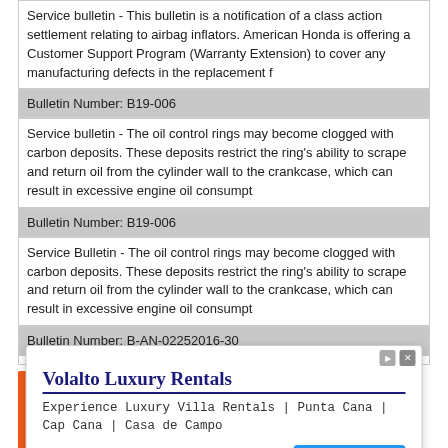Service bulletin - This bulletin is a notification of a class action settlement relating to airbag inflators. American Honda is offering a Customer Support Program (Warranty Extension) to cover any manufacturing defects in the replacement f
Bulletin Number: B19-006
Service bulletin - The oil control rings may become clogged with carbon deposits. These deposits restrict the ring's ability to scrape and return oil from the cylinder wall to the crankcase, which can result in excessive engine oil consumpt
Bulletin Number: B19-006
Service Bulletin - The oil control rings may become clogged with carbon deposits. These deposits restrict the ring's ability to scrape and return oil from the cylinder wall to the crankcase, which can result in excessive engine oil consumpt
Bulletin Number: B-AN-02252016-30
[Figure (infographic): Orange advertisement banner: Help send medical aid to Ukraine >> with Direct Relief logo]
DEALER MESSAGE - ACKNOWLEDGEMENT FORM TO SELL OFF-LEASE
[Figure (screenshot): Advertisement popup for Volalto Luxury Rentals - Experience Luxury Villa Rentals | Punta Cana | Cap Cana | Casa de Campo. Open button in blue.]